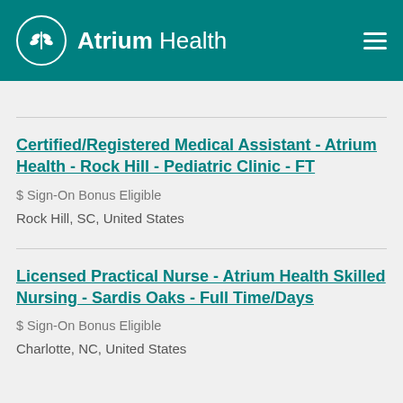Atrium Health
Certified/Registered Medical Assistant - Atrium Health - Rock Hill - Pediatric Clinic - FT
$ Sign-On Bonus Eligible
Rock Hill, SC, United States
Licensed Practical Nurse - Atrium Health Skilled Nursing - Sardis Oaks - Full Time/Days
$ Sign-On Bonus Eligible
Charlotte, NC, United States